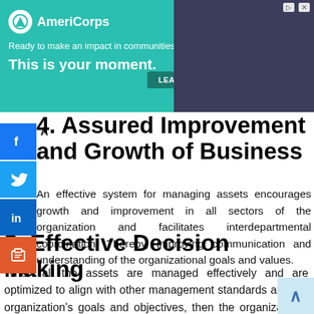[Figure (screenshot): AmeriCorps advertisement banner: teal background with logo, tagline 'Ready to make an impact in communities across the country?', bold text 'This is your moment.', LEARN MORE button, and a photo of a person on the right.]
4. Assured Improvement and Growth of Business
An effective system for managing assets encourages growth and improvement in all sectors of the organization and facilitates interdepartmental coordination. Thereby, improving communication and understanding of the organizational goals and values.
5. Effective Decision Making
When all the assets are managed effectively and are optimized to align with other management standards and the organization's goals and objectives, then the organization's think tank can make more effective and practical decisions that further increase the